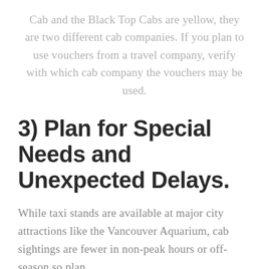Cab and the Black Top Cabs are yellow, they are two different cab companies. If you plan to use vouchers from a travel company, verify with which cab company the vouchers may be used.
3) Plan for Special Needs and Unexpected Delays.
While taxi stands are available at major city attractions like the Vancouver Aquarium, cab sightings are fewer in non-peak hours or off-season so plan